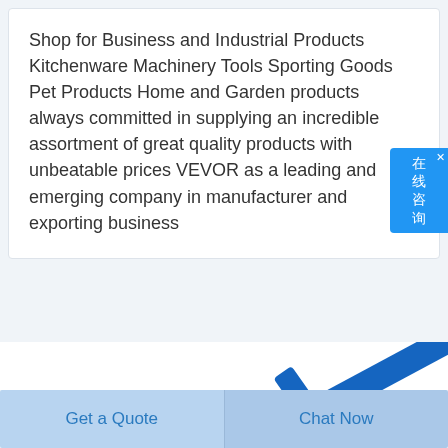Shop for Business and Industrial Products Kitchenware Machinery Tools Sporting Goods Pet Products Home and Garden products always committed in supplying an incredible assortment of great quality products with unbeatable prices VEVOR as a leading and emerging company in manufacturer and exporting business
[Figure (photo): Blue metal chisels or tools partially visible at the bottom of the page, with a red circular object partially visible at the right edge]
Get a Quote
Chat Now